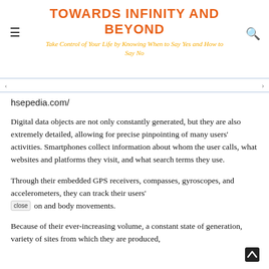TOWARDS INFINITY AND BEYOND
Take Control of Your Life by Knowing When to Say Yes and How to Say No
hsepedia.com/
Digital data objects are not only constantly generated, but they are also extremely detailed, allowing for precise pinpointing of many users' activities. Smartphones collect information about whom the user calls, what websites and platforms they visit, and what search terms they use.
Through their embedded GPS receivers, compasses, gyroscopes, and accelerometers, they can track their users' [close] on and body movements.
Because of their ever-increasing volume, a constant state of generation, variety of sites from which they are produced, ability to search within and compare data sets, and potential